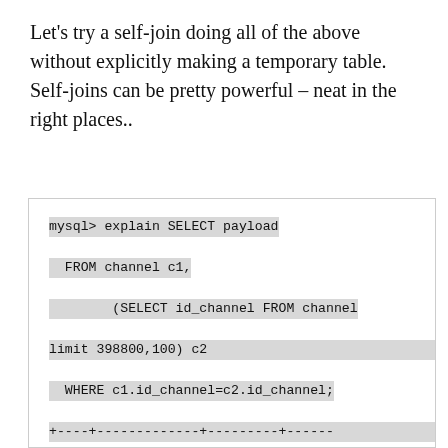Let's try a self-join doing all of the above without explicitly making a temporary table. Self-joins can be pretty powerful – neat in the right places..
[Figure (screenshot): A code block showing a MySQL terminal with an EXPLAIN SELECT query using a self-join on the channel table, followed by a partial display of the EXPLAIN output table with column headers: id, select_type, table, type, possible_keys, key, key_len, ref, rows, Extra.]